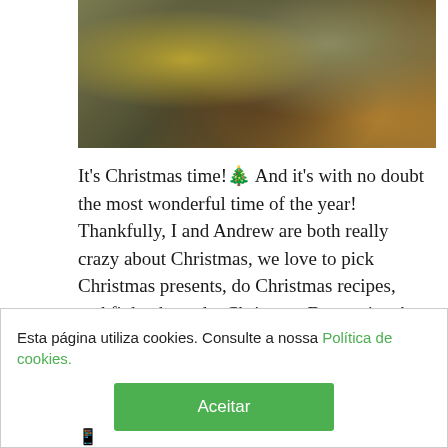[Figure (photo): Close-up photo of Christmas decorations with golden and green hues, showing ornamental plants and decorative spheres with bokeh lighting]
It's Christmas time! 🎄 And it's with no doubt the most wonderful time of the year! Thankfully, I and Andrew are both really crazy about Christmas, we love to pick Christmas presents, do Christmas recipes, and fight about the Christmas Decorations!
This is our first home, since 2017 we live in a nice and
Esta página utiliza cookies. Consulte a nossa Política de cookies.
Aceitar